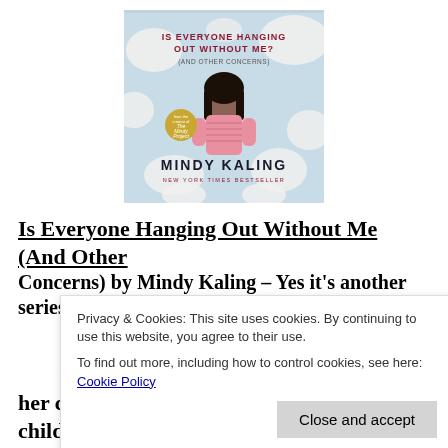[Figure (photo): Book cover of 'Is Everyone Hanging Out Without Me? (And Other Concerns)' by Mindy Kaling. Features a woman in a pink dress against a floral background. Text reads 'IS EVERYONE HANGING OUT WITHOUT ME? (AND OTHER CONCERNS)' at top, 'MINDY KALING' at bottom, 'NEW YORK TIMES BESTSELLER'.]
Is Everyone Hanging Out Without Me (And Other Concerns) by Mindy Kaling – Yes it's another series
Privacy & Cookies: This site uses cookies. By continuing to use this website, you agree to their use. To find out more, including how to control cookies, see here: Cookie Policy
her childhood stories, but then I like childhood stories